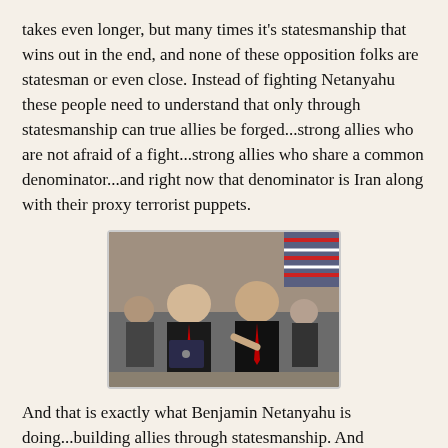takes even longer, but many times it's statesmanship that wins out in the end, and none of these opposition folks are statesman or even close. Instead of fighting Netanyahu these people need to understand that only through statesmanship can true allies be forged...strong allies who are not afraid of a fight...strong allies who share a common denominator...and right now that denominator is Iran along with their proxy terrorist puppets.
[Figure (photo): Photo of two men in suits smiling, one holding a document folder, with an American flag in the background. Appears to be an official government setting.]
And that is exactly what Benjamin Netanyahu is doing...building allies through statesmanship. And statesmanship has proven to work as more and more countries are moving their embassies to Jerusalem, while at the same time Israel is seeing new alliances being forged with both Arab and African nations...even with China to some degree. In fact, Netanyahu's Israel is helping Egypt's President el-Sisi deal with their problems with terrorist groups who